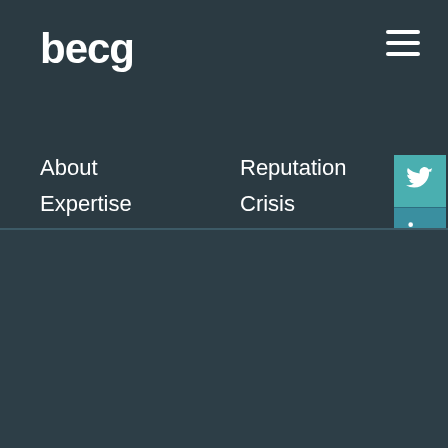becg
About
Expertise
Work
Thinking
Events
Careers
Reputation
Crisis
Government
Planning
PR & Marketing
The best messages are personal. So we use cookies to make our website more personal to you. Let us know if you’re okay with that. Find out more
If declined, we won’t track your information when you visit our site. But in order to comply with your preferences, we’ll have to use just one tiny cookie so that you’re not asked to make this choice again.
Cookies settings
I'm cool with the cookies
I'd rather go cookie-less